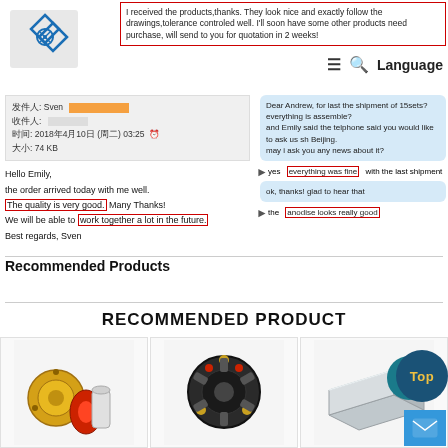[Figure (screenshot): Website screenshot showing customer testimonials/feedback emails and chat messages, a logo, navigation bar, recommended products section with CNC machined parts images, and a 'RECOMMENDED PRODUCT' heading.]
I received the products,thanks. They look nice and exactly follow the drawings,tolerance controled well. I'll soon have some other products need purchase, will send to you for quotation in 2 weeks!
发件人: Sven
收件人:
时间: 2018年4月10日 (周二) 03:25
大小: 74 KB
Hello Emily,
the order arrived today with me well.
The quality is very good. Many Thanks!
We will be able to work together a lot in the future.
Best regards, Sven
Dear Andrew, for last the shipment of 15sets? everything is assemble?
and Emily said the telphone said you would like to ask us sh Beijing.
may i ask you any news about it?
yes everything was fine with the last shipment
ok, thanks! glad to hear that
the anodise looks really good
Recommended Products
RECOMMENDED PRODUCT